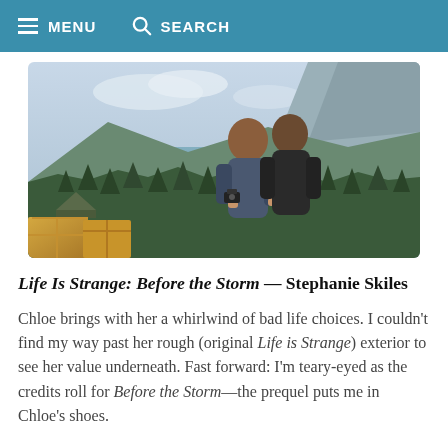MENU   SEARCH
[Figure (screenshot): Video game screenshot from Life Is Strange: Before the Storm showing two characters from behind, looking out over a forested coastal landscape with mountains and a body of water in the distance. Yellow crates visible in the lower left.]
Life Is Strange: Before the Storm — Stephanie Skiles
Chloe brings with her a whirlwind of bad life choices. I couldn't find my way past her rough (original Life is Strange) exterior to see her value underneath. Fast forward: I'm teary-eyed as the credits roll for Before the Storm—the prequel puts me in Chloe's shoes.